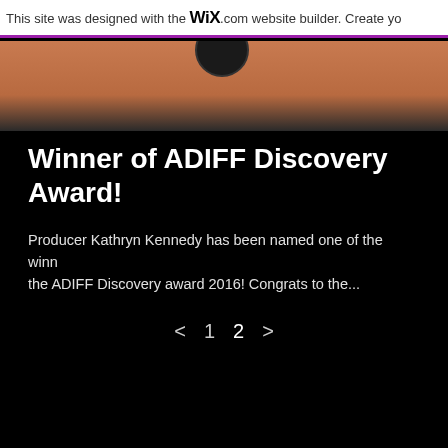This site was designed with the WiX.com website builder. Create yo
[Figure (photo): Partial photo showing a dark circular object against a warm brown/copper background, cropped at top of content area]
Winner of ADIFF Discovery Award!
Producer Kathryn Kennedy has been named one of the winners of the ADIFF Discovery award 2016! Congrats to the...
< 1 2 >